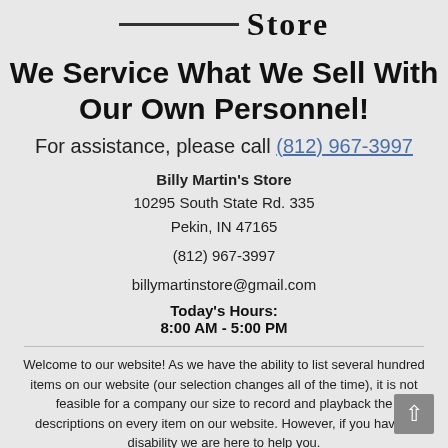[Figure (logo): Billy Martin's Store logo with decorative line and large bold text 'Store']
We Service What We Sell With Our Own Personnel!
For assistance, please call (812) 967-3997
Billy Martin's Store
10295 South State Rd. 335
Pekin, IN 47165

(812) 967-3997

billymartinstore@gmail.com
Today's Hours:
8:00 AM - 5:00 PM
Welcome to our website! As we have the ability to list several hundred items on our website (our selection changes all of the time), it is not feasible for a company our size to record and playback the descriptions on every item on our website. However, if you have a disability we are here to help you.